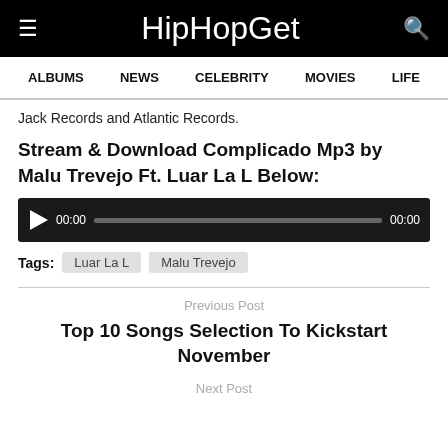HipHopGet
ALBUMS  NEWS  CELEBRITY  MOVIES  LIFE
Jack Records and Atlantic Records.
Stream & Download Complicado Mp3 by Malu Trevejo Ft. Luar La L Below:
[Figure (other): Audio player with play button, time display 00:00, progress bar, and end time 00:00]
Tags: Luar La L  Malu Trevejo
Previous Post
Top 10 Songs Selection To Kickstart November
Next Post